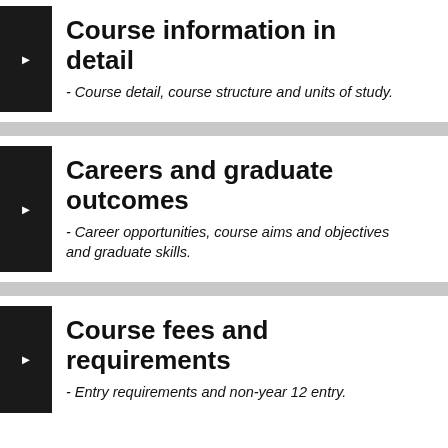Course information in detail
- Course detail, course structure and units of study.
Careers and graduate outcomes
- Career opportunities, course aims and objectives and graduate skills.
Course fees and requirements
- Entry requirements and non-year 12 entry.